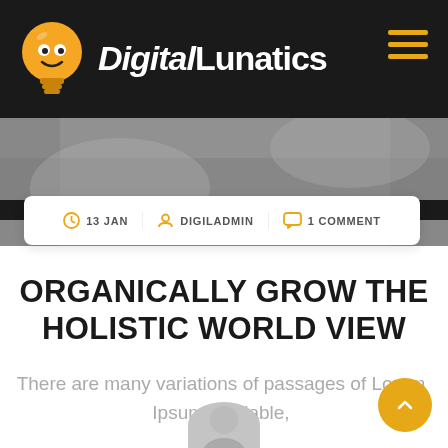[Figure (logo): Digital Lunatics logo with yellow lightbulb mascot and white bold text 'Digital Lunatics' on dark background header]
[Figure (photo): Grayscale hero photo strip showing hands and papers on a desk]
13 JAN   DIGILADMIN   1 COMMENT
ORGANICALLY GROW THE HOLISTIC WORLD VIEW
There are many variations of passages of Lorem Ipsum available,